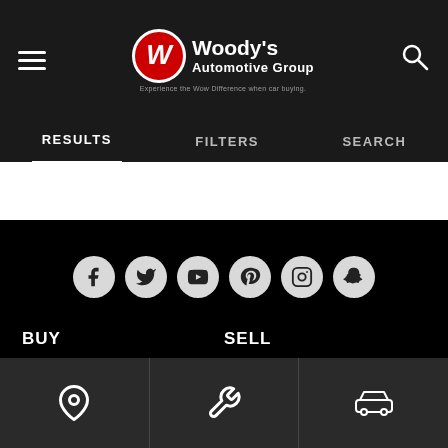Woody's Automotive Group — Experience the Wow Difference when car buying.
RESULTS  FILTERS  SEARCH
[Figure (screenshot): Social media icons row: Facebook, Twitter, YouTube, Pinterest, Instagram, Snapchat]
BUY   SELL
Location | Wrench | Car icons bottom navigation bar